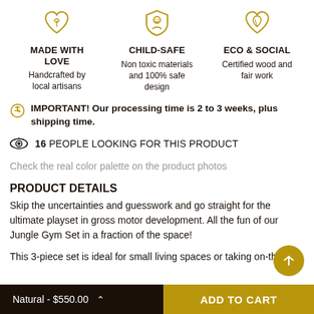[Figure (illustration): Three icons in a row: heart (Made with Love), child shield (Child-Safe), and leaf/heart (Eco & Social), each with a title and description below. Icons are rendered in a warm golden-brown color.]
MADE WITH LOVE
Handcrafted by local artisans
CHILD-SAFE
Non toxic materials and 100% safe design
ECO & SOCIAL
Certified wood and fair work
IMPORTANT! Our processing time is 2 to 3 weeks, plus shipping time.
16 PEOPLE LOOKING FOR THIS PRODUCT
Check the real color palette on the product photos
PRODUCT DETAILS
Skip the uncertainties and guesswork and go straight for the ultimate playset in gross motor development. All the fun of our Jungle Gym Set in a fraction of the space!
This 3-piece set is ideal for small living spaces or taking on-the-go.
Natural - $550.00   ADD TO CART